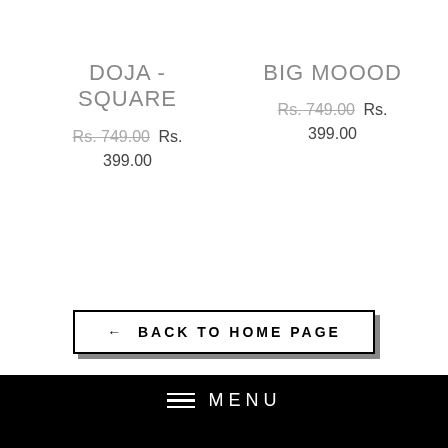DOJA - SQUARE
Rs. 749.00  Rs. 399.00
BIG MOOOD
Rs. 749.00  Rs. 399.00
← BACK TO HOME PAGE
MENU